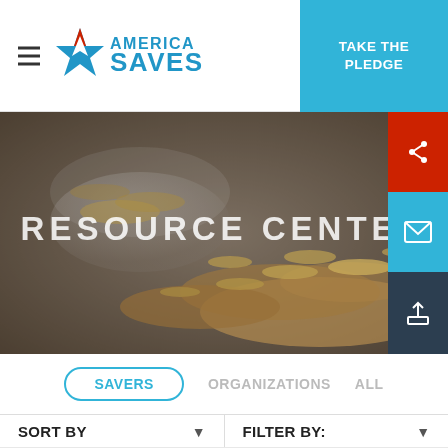America Saves | Take The Pledge
[Figure (screenshot): America Saves logo with star icon and hamburger menu on left, Take The Pledge blue button on right]
[Figure (photo): Hero banner showing coins spilling from a glass jar, with text RESOURCE CENTER overlaid in white]
SAVERS
ORGANIZATIONS
ALL
SORT BY
FILTER BY:
EDUCATION